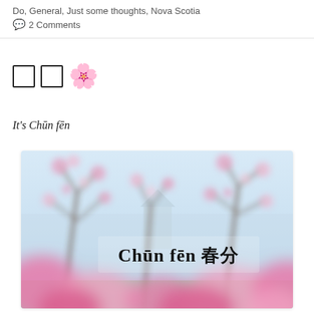Do, General, Just some thoughts, Nova Scotia
💬 2 Comments
□ □ 🌸
It's Chūn fēn
[Figure (photo): Photo of cherry blossom / spring blossoms on tree branches with pink flowers in foreground blurred, text overlay reads 'Chūn fēn 春分']